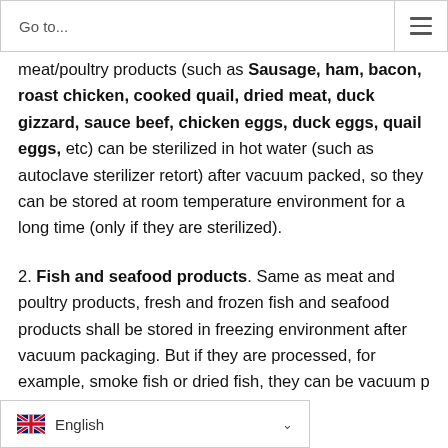Go to...
meat/poultry products (such as Sausage, ham, bacon, roast chicken, cooked quail, dried meat, duck gizzard, sauce beef, chicken eggs, duck eggs, quail eggs, etc) can be sterilized in hot water (such as autoclave sterilizer retort) after vacuum packed, so they can be stored at room temperature environment for a long time (only if they are sterilized).
2. Fish and seafood products. Same as meat and poultry products, fresh and frozen fish and seafood products shall be stored in freezing environment after vacuum packaging. But if they are processed, for example, smoke fish or dried fish, they can be vacuum p[acked at] room temperature. With our
English